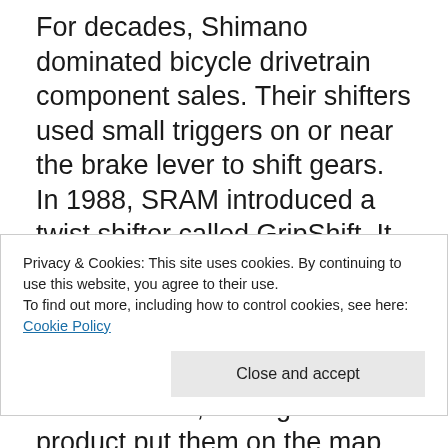For decades, Shimano dominated bicycle drivetrain component sales. Their shifters used small triggers on or near the brake lever to shift gears. In 1988, SRAM introduced a twist shifter called GripShift. It was very different, and for some users better. For almost ten years, I preferred it to trigger shifters…it was quicker, more intuitive, and lighter. That product put them on the map and allowed them to introduce complementary products. Now they're one of the largest cycling component brands in the world. Yes, it takes more than good product to grow into a massively successful company, but it's
Privacy & Cookies: This site uses cookies. By continuing to use this website, you agree to their use.
To find out more, including how to control cookies, see here: Cookie Policy
Close and accept